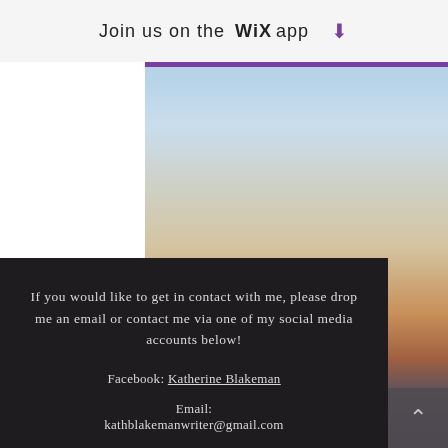Join us on the WiX app
[Figure (photo): Sky and ocean sunset background photo showing gradient from blue sky to orange/red sunset over water]
If you would like to get in contact with me, please drop me an email or contact me via one of my social media accounts below!
Facebook: Katherine Blakeman
Email: kathblakemanwriter@gmail.com
Twitter: @kblakemanwriter
Instagram: @katherineblakemanwriter